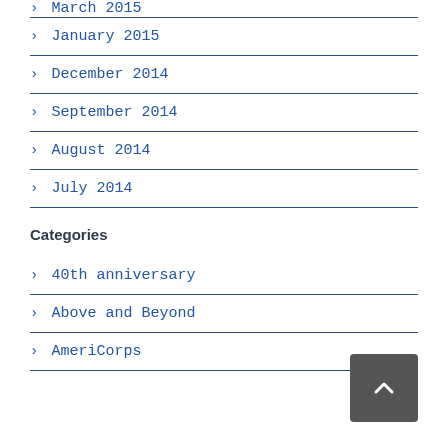January 2015
December 2014
September 2014
August 2014
July 2014
Categories
40th anniversary
Above and Beyond
AmeriCorps